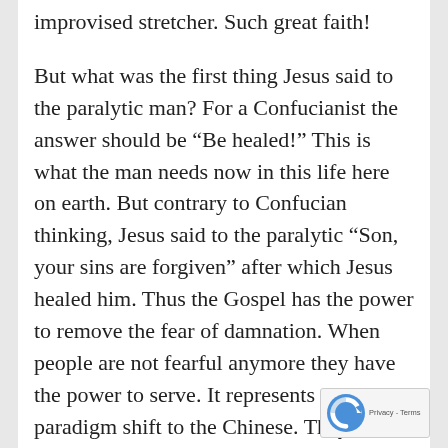improvised stretcher. Such great faith!
But what was the first thing Jesus said to the paralytic man? For a Confucianist the answer should be “Be healed!” This is what the man needs now in this life here on earth. But contrary to Confucian thinking, Jesus said to the paralytic “Son, your sins are forgiven” after which Jesus healed him. Thus the Gospel has the power to remove the fear of damnation. When people are not fearful anymore they have the power to serve. It represents a paradigm shift to the Chinese. They need to know that true religion is not about following a way or path to a goal of self-realization or immortality. Such paths will inevitably lead to death. True religion is about what God has done through Christ for